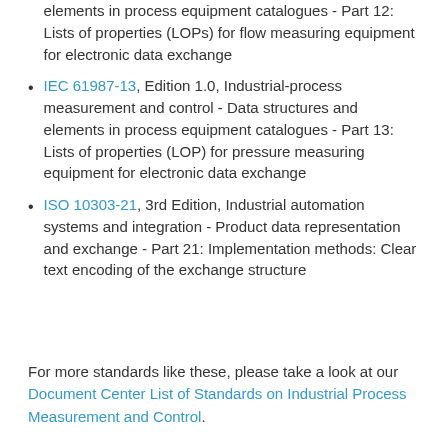elements in process equipment catalogues - Part 12: Lists of properties (LOPs) for flow measuring equipment for electronic data exchange
IEC 61987-13, Edition 1.0, Industrial-process measurement and control - Data structures and elements in process equipment catalogues - Part 13: Lists of properties (LOP) for pressure measuring equipment for electronic data exchange
ISO 10303-21, 3rd Edition, Industrial automation systems and integration - Product data representation and exchange - Part 21: Implementation methods: Clear text encoding of the exchange structure
For more standards like these, please take a look at our Document Center List of Standards on Industrial Process Measurement and Control.